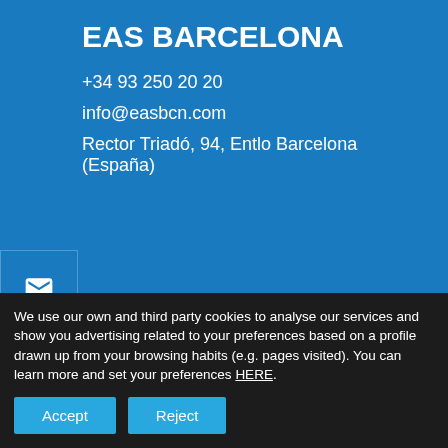EAS BARCELONA
+34 93 250 20 20
info@easbcn.com
Rector Triadó, 94, Entlo Barcelona (España)
Association of Aeronautical Training Schools
We use our own and third party cookies to analyse our services and show you advertising related to your preferences based on a profile drawn up from your browsing habits (e.g. pages visited). You can learn more and set your preferences HERE.
Accept
Reject